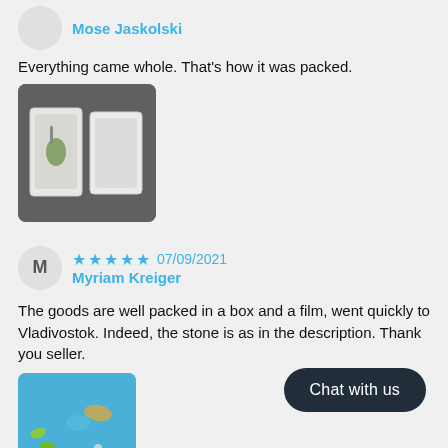Mose Jaskolski
Everything came whole. That's how it was packed.
[Figure (photo): Two small white trays on a dark fabric background, one containing a small green mineral/stone]
07/09/2021
Myriam Kreiger
The goods are well packed in a box and a film, went quickly to Vladivostok. Indeed, the stone is as in the description. Thank you seller.
[Figure (photo): Green stones/crystals on a blue patterned background]
Chat with us